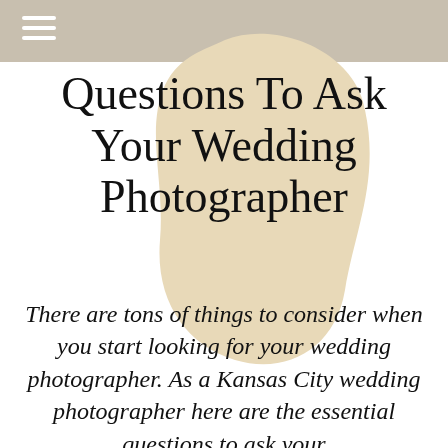[Figure (illustration): Organic blob shape in light beige/tan color positioned behind the title text]
Questions To Ask Your Wedding Photographer
There are tons of things to consider when you start looking for your wedding photographer. As a Kansas City wedding photographer here are the essential questions to ask your